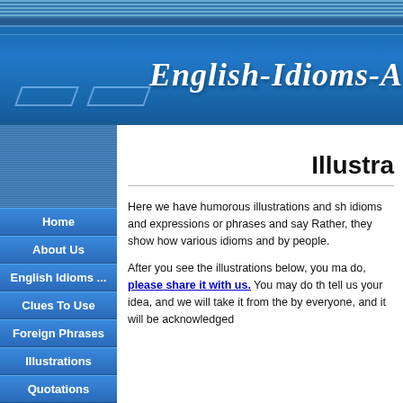English-Idioms-A
Illustra
Home
About Us
English Idioms ...
Clues To Use
Foreign Phrases
Illustrations
Quotations
Here we have humorous illustrations and sh idioms and expressions or phrases and say Rather, they show how various idioms and by people.
After you see the illustrations below, you m do, please share it with us. You may do t tell us your idea, and we will take it from th by everyone, and it will be acknowledged